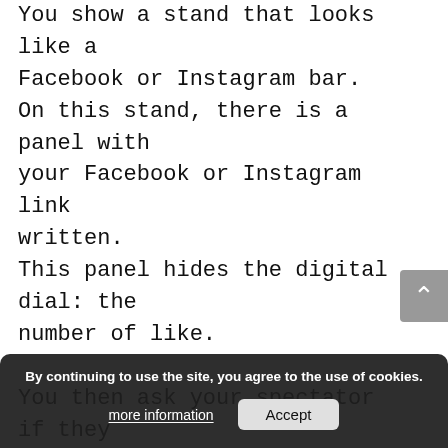You show a stand that looks like a Facebook or Instagram bar. On this stand, there is a panel with your Facebook or Instagram link written. This panel hides the digital dial: the number of like. You then ask your spectator if they know this number and of course the answer will be no. Explain that we are going to simulate this number of Like. For that, you then show four cubes with different numbers on all sides. A spectator chooses a cube, then a
By continuing to use the site, you agree to the use of cookies.
more information
Accept